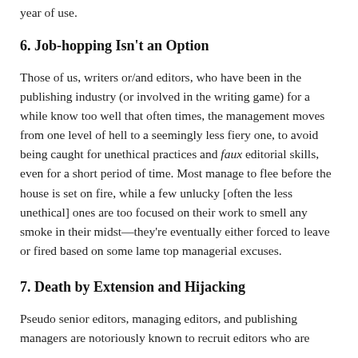year of use.
6. Job-hopping Isn't an Option
Those of us, writers or/and editors, who have been in the publishing industry (or involved in the writing game) for a while know too well that often times, the management moves from one level of hell to a seemingly less fiery one, to avoid being caught for unethical practices and faux editorial skills, even for a short period of time. Most manage to flee before the house is set on fire, while a few unlucky [often the less unethical] ones are too focused on their work to smell any smoke in their midst—they're eventually either forced to leave or fired based on some lame top managerial excuses.
7. Death by Extension and Hijacking
Pseudo senior editors, managing editors, and publishing managers are notoriously known to recruit editors who are